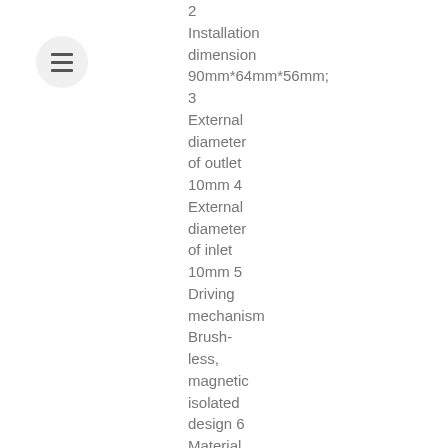[Figure (other): Hamburger/menu icon button — three horizontal lines in a circular grey button]
2 Installation dimension 90mm*64mm*56mm; 3 External diameter of outlet 10mm 4 External diameter of inlet 10mm 5 Driving mechanism Brush-less, magnetic isolated design 6 Material of pump shell ABS,PES/SPS/PPS/PA66+30%GF (Optional)